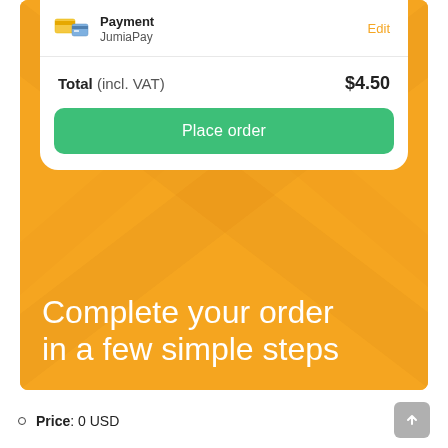[Figure (screenshot): Mobile app screenshot showing a Jumia checkout screen on an orange background. Top portion shows a white card with Payment method JumiaPay and an Edit link, total of $4.50 including VAT, and a green Place order button. Below is orange background with white text reading 'Complete your order in a few simple steps'.]
Price: 0 USD